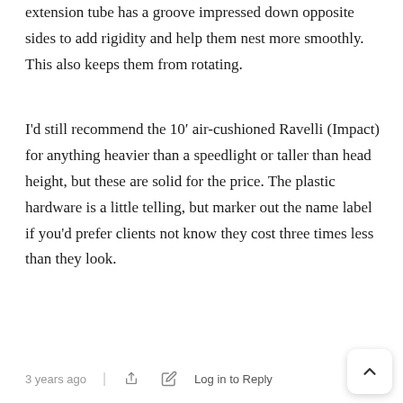extension tube has a groove impressed down opposite sides to add rigidity and help them nest more smoothly. This also keeps them from rotating.
I'd still recommend the 10′ air-cushioned Ravelli (Impact) for anything heavier than a speedlight or taller than head height, but these are solid for the price. The plastic hardware is a little telling, but marker out the name label if you'd prefer clients not know they cost three times less than they look.
3 years ago | [share icon] [edit icon] Log in to Reply